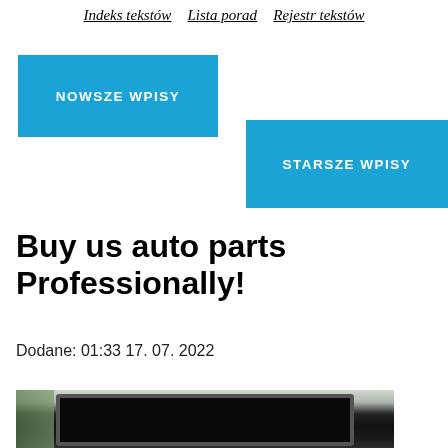Indeks tekstów  Lista porad  Rejestr tekstów
NOWSZE WPISY
STARSZE WPISY
Buy us auto parts Professionally!
Dodane: 01:33 17. 07. 2022
[Figure (photo): Photo of a laptop/monitor on a desk with a blurred green plant in the background]